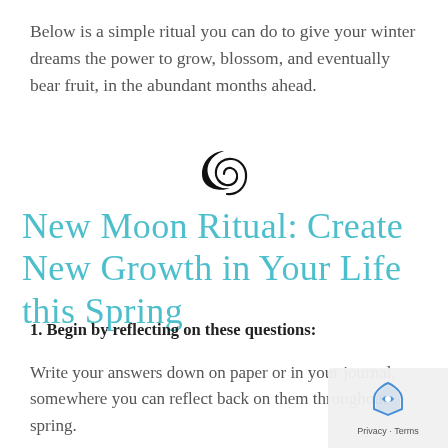Below is a simple ritual you can do to give your winter dreams the power to grow, blossom, and eventually bear fruit, in the abundant months ahead.
[Figure (illustration): A decorative spiral/crescent moon symbol in black, centered on the page as a divider.]
New Moon Ritual: Create New Growth in Your Life this Spring
1. Begin by reflecting on these questions:
Write your answers down on paper or in your journal, somewhere you can reflect back on them throughout spring.